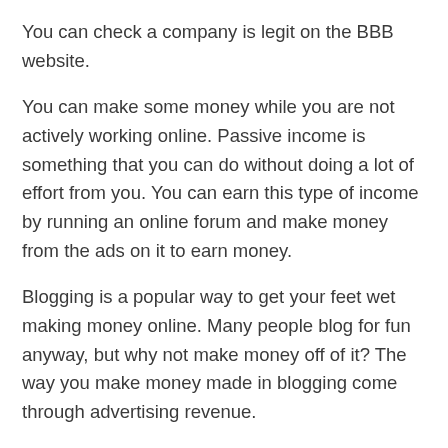You can check a company is legit on the BBB website.
You can make some money while you are not actively working online. Passive income is something that you can do without doing a lot of effort from you. You can earn this type of income by running an online forum and make money from the ads on it to earn money.
Blogging is a popular way to get your feet wet making money online. Many people blog for fun anyway, but why not make money off of it? The way you make money made in blogging come through advertising revenue.
You can convert any skill into making money online doing what you do in the real world. Do you participate in a reading and take part in a book club in person? Do you love crocheting as a hobby?Make some infant booties